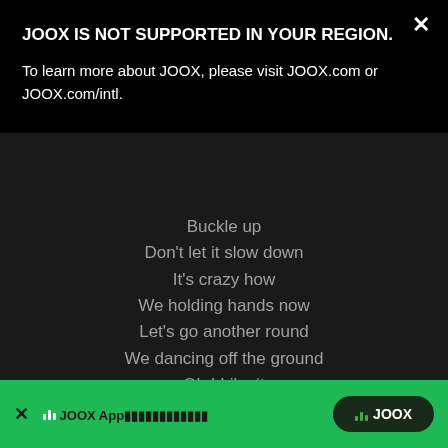JOOX IS NOT SUPPORTED IN YOUR REGION.
To learn more about JOOX, please visit JOOX.com or JOOX.com/intl.
Buckle up
Don't let it slow down
It’s crazy how
We holding hands now
Let’s go another round
We dancing off the ground
Oh I Like it
Come in close
Cuz we bout to go switching lanes
Don’t wanna go don’t say goodbye
JOOX App  |  JOOX